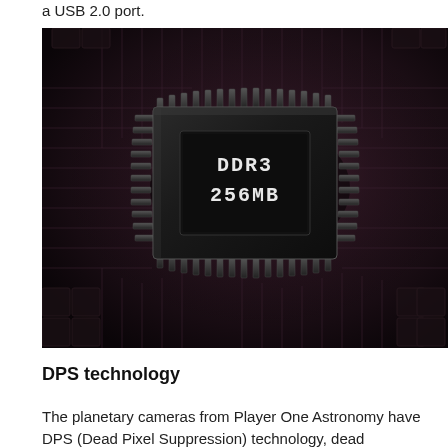a USB 2.0 port.
[Figure (photo): Close-up photograph of a DDR3 256MB memory chip on a circuit board with visible traces and pins, dark moody lighting with purple/dark tones.]
DPS technology
The planetary cameras from Player One Astronomy have DPS (Dead Pixel Suppression) technology, dead